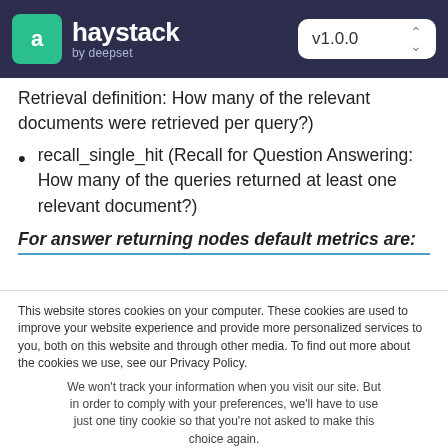haystack by deepset  v1.0.0
Retrieval definition: How many of the relevant documents were retrieved per query?)
recall_single_hit (Recall for Question Answering: How many of the queries returned at least one relevant document?)
For answer returning nodes default metrics are:
This website stores cookies on your computer. These cookies are used to improve your website experience and provide more personalized services to you, both on this website and through other media. To find out more about the cookies we use, see our Privacy Policy.
We won't track your information when you visit our site. But in order to comply with your preferences, we'll have to use just one tiny cookie so that you're not asked to make this choice again.